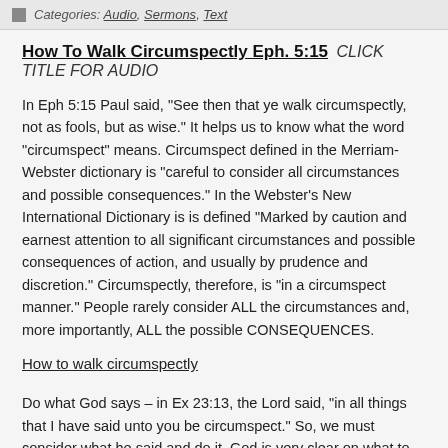Categories: Audio, Sermons, Text
How To Walk Circumspectly Eph. 5:15 CLICK TITLE FOR AUDIO
In Eph 5:15 Paul said, "See then that ye walk circumspectly, not as fools, but as wise."  It helps us to know what the word "circumspect" means.  Circumspect defined in the Merriam-Webster dictionary is "careful to consider all circumstances and possible consequences."  In the Webster's New International Dictionary is is defined "Marked by caution and earnest attention to all significant circumstances and possible consequences of action, and usually by prudence and discretion."  Circumspectly, therefore, is "in a circumspect manner."  People rarely consider ALL the circumstances and, more importantly, ALL the possible CONSEQUENCES.
How to walk circumspectly
Do what God says – in Ex 23:13, the Lord said, "in all things that I have said unto you be circumspect."  So, we must consider what he said and do it.  God is very clear on what to do.  You will not know all that he said to do when you first start reading the Bible. But as you read you will see what to do.  In the meantime, you can ask someone who knows the Bible and he or she can tell you what it